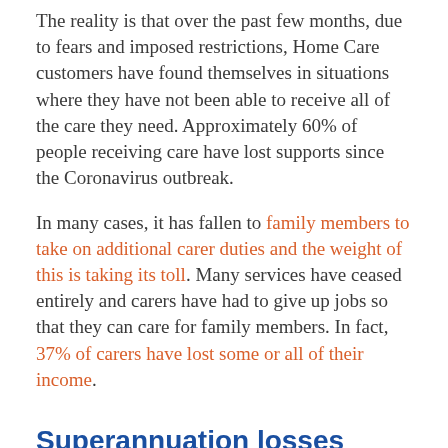The reality is that over the past few months, due to fears and imposed restrictions, Home Care customers have found themselves in situations where they have not been able to receive all of the care they need. Approximately 60% of people receiving care have lost supports since the Coronavirus outbreak.
In many cases, it has fallen to family members to take on additional carer duties and the weight of this is taking its toll. Many services have ceased entirely and carers have had to give up jobs so that they can care for family members. In fact, 37% of carers have lost some or all of their income.
Superannuation losses